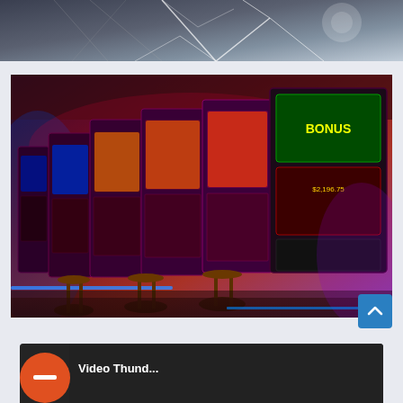[Figure (photo): Partial photo at top of page showing lightning or cracked glass pattern against a dark stormy background]
[Figure (photo): Casino slot machines in a row with colorful neon lighting in red, blue, and purple tones, bar stools visible in foreground]
[Figure (photo): Partial view of a thumbnail at the bottom showing an orange circle with minus sign on the left and partial white text on dark background]